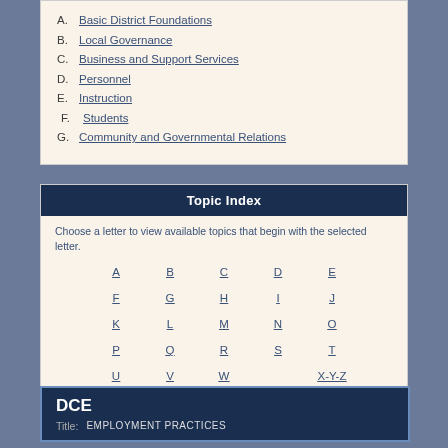A. Basic District Foundations
B. Local Governance
C. Business and Support Services
D. Personnel
E. Instruction
F. Students
G. Community and Governmental Relations
Topic Index
Choose a letter to view available topics that begin with the selected letter.
A B C D E F G H I J K L M N O P Q R S T U V W X-Y-Z
DCE
Title: EMPLOYMENT PRACTICES